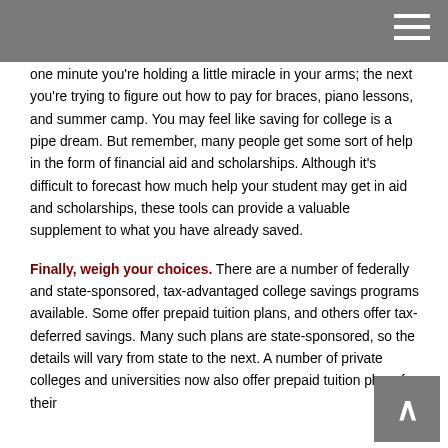one minute you're holding a little miracle in your arms; the next you're trying to figure out how to pay for braces, piano lessons, and summer camp. You may feel like saving for college is a pipe dream. But remember, many people get some sort of help in the form of financial aid and scholarships. Although it's difficult to forecast how much help your student may get in aid and scholarships, these tools can provide a valuable supplement to what you have already saved.
Finally, weigh your choices. There are a number of federally and state-sponsored, tax-advantaged college savings programs available. Some offer prepaid tuition plans, and others offer tax-deferred savings. Many such plans are state-sponsored, so the details will vary from state to the next. A number of private colleges and universities now also offer prepaid tuition plans for their